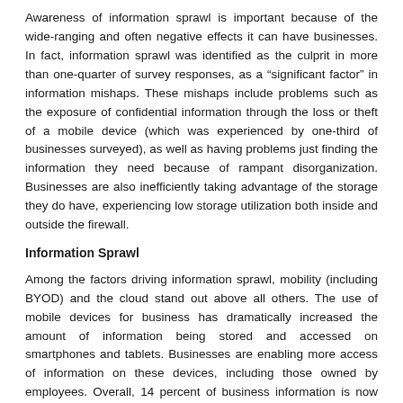Awareness of information sprawl is important because of the wide-ranging and often negative effects it can have businesses. In fact, information sprawl was identified as the culprit in more than one-quarter of survey responses, as a “significant factor” in information mishaps. These mishaps include problems such as the exposure of confidential information through the loss or theft of a mobile device (which was experienced by one-third of businesses surveyed), as well as having problems just finding the information they need because of rampant disorganization. Businesses are also inefficiently taking advantage of the storage they do have, experiencing low storage utilization both inside and outside the firewall.
Information Sprawl
Among the factors driving information sprawl, mobility (including BYOD) and the cloud stand out above all others. The use of mobile devices for business has dramatically increased the amount of information being stored and accessed on smartphones and tablets. Businesses are enabling more access of information on these devices, including those owned by employees. Overall, 14 percent of business information is now stored on these mobile devices globally – 14 percent for enterprises and 11 percent for SMBs. The number is far higher in some areas – in India it is 62 percent, for example, and in Australia and New Zealand it is 46 percent. These mobile devices are also affecting the way we access our information – 28 percent of business information access now happens on mobile devices (31 percent for enterprises; 25 percent for SMBs),